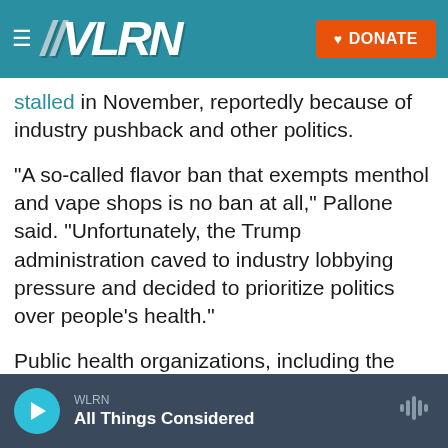WLRN | DONATE
stalled in November, reportedly because of industry pushback and other politics.
"A so-called flavor ban that exempts menthol and vape shops is no ban at all," Pallone said. "Unfortunately, the Trump administration caved to industry lobbying pressure and decided to prioritize politics over people's health."
Public health organizations, including the American Cancer Society and the American Academy of Pediatrics, also expressed "outrage," especially with menthol's exclusion from enforcement.
WLRN | All Things Considered